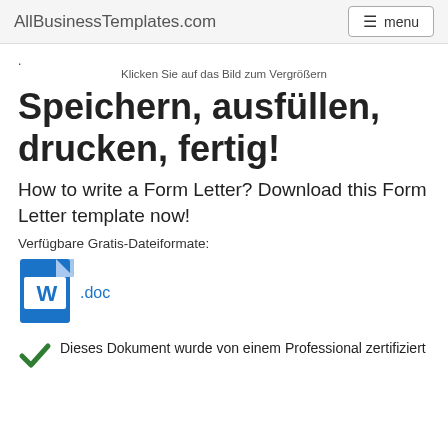AllBusinessTemplates.com   menu
. Klicken Sie auf das Bild zum Vergrößern
Speichern, ausfüllen, drucken, fertig!
How to write a Form Letter? Download this Form Letter template now!
Verfügbare Gratis-Dateiformate:
[Figure (illustration): Word document icon with .doc label]
Dieses Dokument wurde von einem Professional zertifiziert